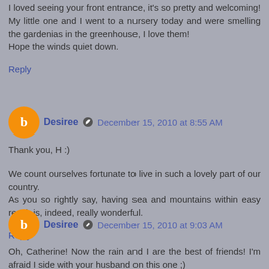I loved seeing your front entrance, it's so pretty and welcoming! My little one and I went to a nursery today and were smelling the gardenias in the greenhouse, I love them!
Hope the winds quiet down.
Reply
Desiree  December 15, 2010 at 8:55 AM
Thank you, H :)

We count ourselves fortunate to live in such a lovely part of our country.
As you so rightly say, having sea and mountains within easy reach is, indeed, really wonderful.
Reply
Desiree  December 15, 2010 at 9:03 AM
Oh, Catherine! Now the rain and I are the best of friends! I'm afraid I side with your husband on this one ;)